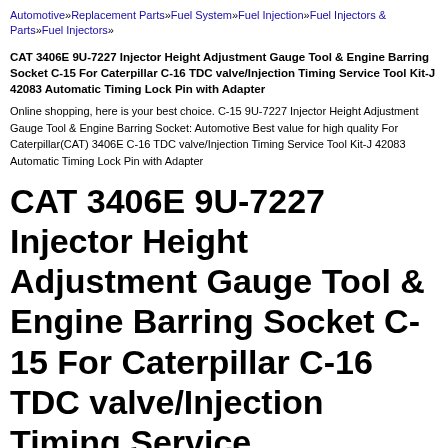Automotive»Replacement Parts»Fuel System»Fuel Injection»Fuel Injectors & Parts»Fuel Injectors»
CAT 3406E 9U-7227 Injector Height Adjustment Gauge Tool & Engine Barring Socket C-15 For Caterpillar C-16 TDC valve/Injection Timing Service Tool Kit-J 42083 Automatic Timing Lock Pin with Adapter
Online shopping, here is your best choice. C-15 9U-7227 Injector Height Adjustment Gauge Tool & Engine Barring Socket: Automotive Best value for high quality For Caterpillar(CAT) 3406E C-16 TDC valve/Injection Timing Service Tool Kit-J 42083 Automatic Timing Lock Pin with Adapter
CAT 3406E 9U-7227 Injector Height Adjustment Gauge Tool & Engine Barring Socket C-15 For Caterpillar C-16 TDC valve/Injection Timing Service